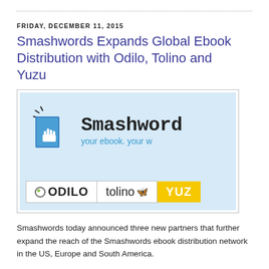FRIDAY, DECEMBER 11, 2015
Smashwords Expands Global Ebook Distribution with Odilo, Tolino and Yuzu
[Figure (logo): Smashwords logo with book icon and tagline 'your ebook. your w...', plus partner logos: ODILO, tolino, and YUZU]
Smashwords today announced three new partners that further expand the reach of the Smashwords ebook distribution network in the US, Europe and South America.